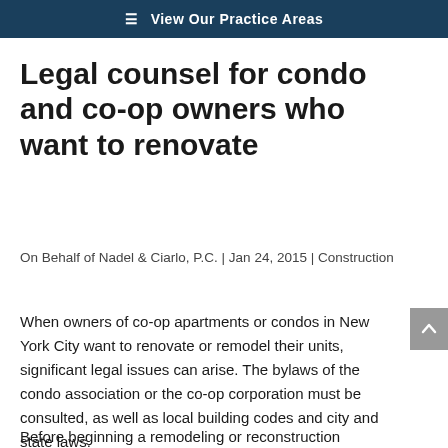≡ View Our Practice Areas
Legal counsel for condo and co-op owners who want to renovate
On Behalf of Nadel & Ciarlo, P.C. | Jan 24, 2015 | Construction
When owners of co-op apartments or condos in New York City want to renovate or remodel their units, significant legal issues can arise. The bylaws of the condo association or the co-op corporation must be consulted, as well as local building codes and city and state laws.
Before beginning a remodeling or reconstruction